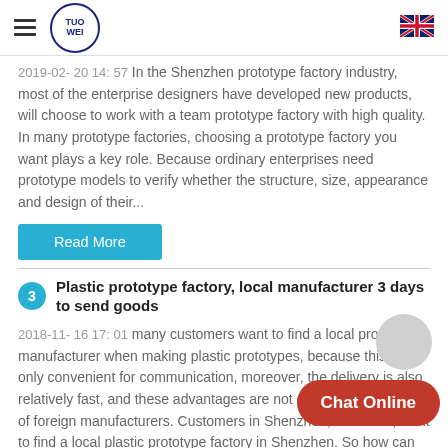TUOWEI [logo] [hamburger menu] [UK flag]
2019-02-20 14:57 In the Shenzhen prototype factory industry, most of the enterprise designers have developed new products, will choose to work with a team prototype factory with high quality. In many prototype factories, choosing a prototype factory you want plays a key role. Because ordinary enterprises need prototype models to verify whether the structure, size, appearance and design of their...
Read More
3 Plastic prototype factory, local manufacturer 3 days to send goods
2018-11- 16 17: 01 many customers want to find a local prototype manufacturer when making plastic prototypes, because this is not only convenient for communication, moreover, the delivery is also relatively fast, and these advantages are not comparable to those of foreign manufacturers. Customers in Shenzhen, of course, want to find a local plastic prototype factory in Shenzhen. So how can we find...
Read More